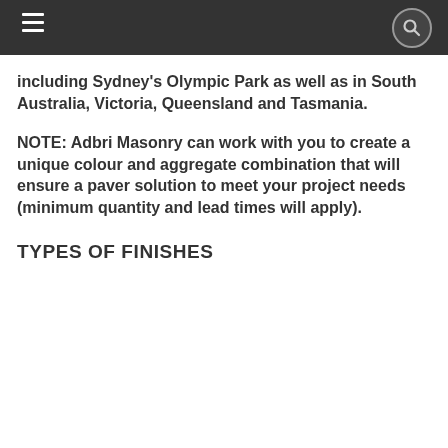Navigation bar with hamburger menu and search icon
including Sydney's Olympic Park as well as in South Australia, Victoria, Queensland and Tasmania.
NOTE: Adbri Masonry can work with you to create a unique colour and aggregate combination that will ensure a paver solution to meet your project needs (minimum quantity and lead times will apply).
TYPES OF FINISHES